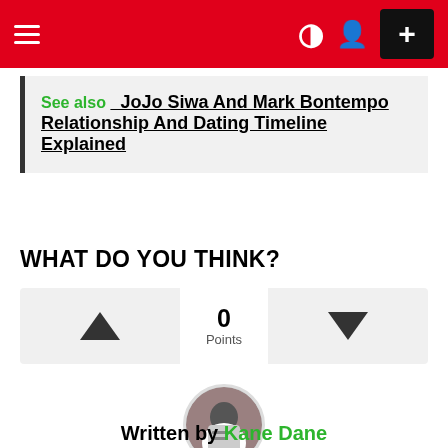≡ + (navigation bar with hamburger menu, moon icon, user icon, plus button)
See also  JoJo Siwa And Mark Bontempo Relationship And Dating Timeline Explained
WHAT DO YOU THINK?
▲  0 Points  ▼
[Figure (photo): Circular avatar photo of author Kane Dane, a person reading a document]
Written by Kane Dane